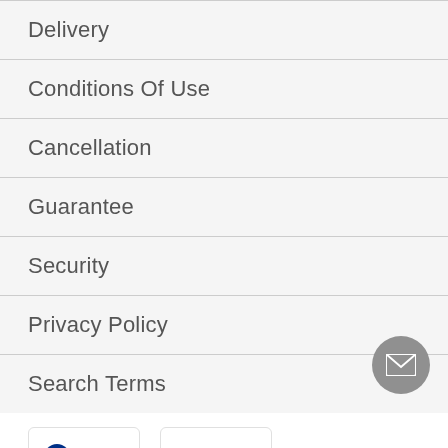Delivery
Conditions Of Use
Cancellation
Guarantee
Security
Privacy Policy
Search Terms
[Figure (logo): PayPal payment logo]
[Figure (logo): Amazon Pay payment logo]
[Figure (logo): Visa, Mastercard, and American Express payment logos]